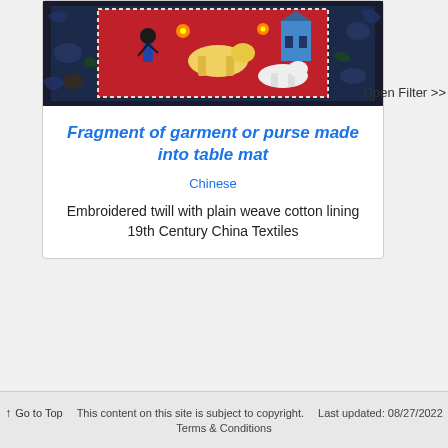[Figure (photo): Chinese embroidered textile fragment showing figures and animals on a red background with dark blue border with cloud patterns]
Open Filter >>
Fragment of garment or purse made into table mat
Chinese
Embroidered twill with plain weave cotton lining
19th Century China Textiles
↑ Go to Top   This content on this site is subject to copyright.   Last updated: 08/27/2022   Terms & Conditions